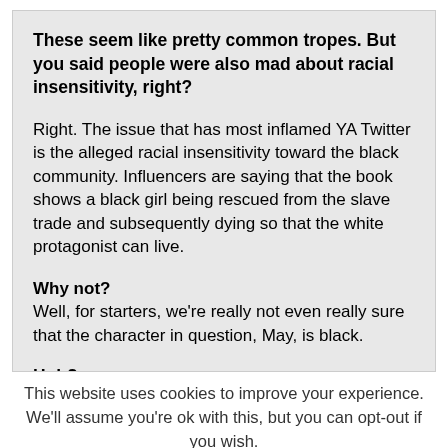These seem like pretty common tropes. But you said people were also mad about racial insensitivity, right?
Right. The issue that has most inflamed YA Twitter is the alleged racial insensitivity toward the black community. Influencers are saying that the book shows a black girl being rescued from the slave trade and subsequently dying so that the white protagonist can live.
Why not? Well, for starters, we're really not even really sure that the character in question, May, is black.
Huh?
This website uses cookies to improve your experience. We'll assume you're ok with this, but you can opt-out if you wish.
Accept | Read More